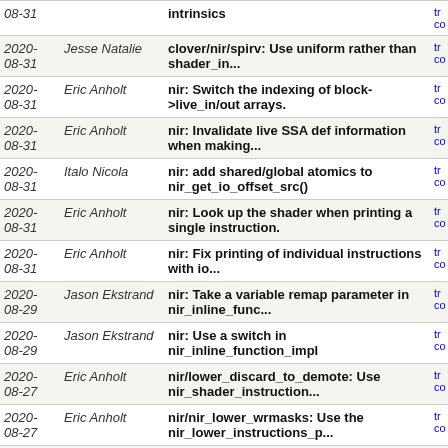| Date | Author | Commit | Link |
| --- | --- | --- | --- |
| 2020-08-31 |  | intrinsics | tr co |
| 2020-08-31 | Jesse Natalie | clover/nir/spirv: Use uniform rather than shader_in... | tr co |
| 2020-08-31 | Eric Anholt | nir: Switch the indexing of block->live_in/out arrays. | tr co |
| 2020-08-31 | Eric Anholt | nir: Invalidate live SSA def information when making... | tr co |
| 2020-08-31 | Italo Nicola | nir: add shared/global atomics to nir_get_io_offset_src() | tr co |
| 2020-08-31 | Eric Anholt | nir: Look up the shader when printing a single instruction. | tr co |
| 2020-08-31 | Eric Anholt | nir: Fix printing of individual instructions with io... | tr co |
| 2020-08-29 | Jason Ekstrand | nir: Take a variable remap parameter in nir_inline_func... | tr co |
| 2020-08-29 | Jason Ekstrand | nir: Use a switch in nir_inline_function_impl | tr co |
| 2020-08-27 | Eric Anholt | nir/lower_discard_to_demote: Use nir_shader_instruction... | tr co |
| 2020-08-27 | Eric Anholt | nir/nir_lower_wrmasks: Use the nir_lower_instructions_p... | tr co |
| 2020-08-27 | Eric Anholt | nir/lower_io_to_scalar: Convert to use nir_shader_instr... | tr co |
| 2020-08-27 | Eric Anholt | nir/opt_undef: Convert to use nir_shader_instructions_p... | tr co |
| 2020-08-27 | Eric Anholt | nir/lower_vec_to_movs: Convert to use nir_shader_instru... | tr co |